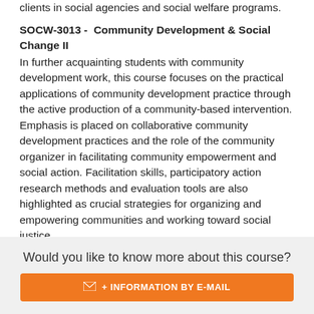clients in social agencies and social welfare programs.
SOCW-3013 -  Community Development & Social Change II
In further acquainting students with community development work, this course focuses on the practical applications of community development practice through the active production of a community-based intervention. Emphasis is placed on collaborative community development practices and the role of the community organizer in facilitating community empowerment and social action. Facilitation skills, participatory action research methods and evaluation tools are also highlighted as crucial strategies for organizing and empowering communities and working toward social justice.
SOCW-3014 -  Community Mental Health II
This course is a continuation of Community Mental Health I, SOCW1015. During this course, service provision approaches
Would you like to know more about this course?
+ INFORMATION BY E-MAIL